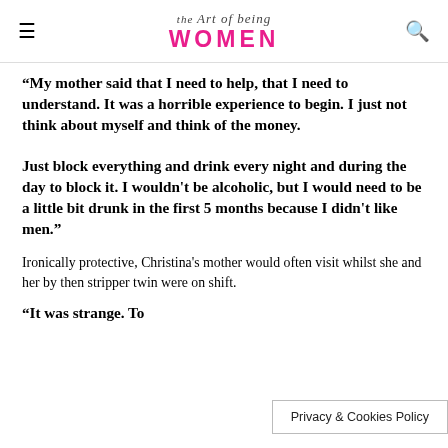the Art of being WOMEN
“My mother said that I need to help, that I need to understand. It was a horrible experience to begin. I just not think about myself and think of the money.

Just block everything and drink every night and during the day to block it. I wouldn’t be alcoholic, but I would need to be a little bit drunk in the first 5 months because I didn’t like men.”
Ironically protective, Christina’s mother would often visit whilst she and her by then stripper twin were on shift.
“It was strange. To…
Privacy & Cookies Policy